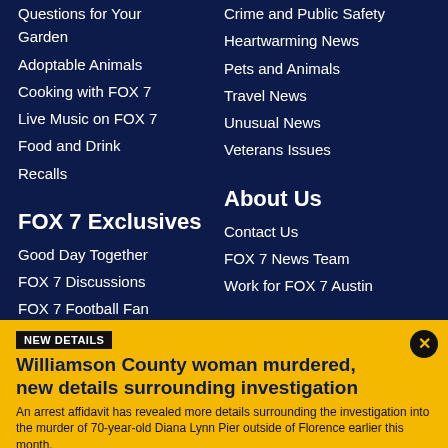Questions for Your Garden
Adoptable Animals
Cooking with FOX 7
Live Music on FOX 7
Food and Drink
Recalls
Crime and Public Safety
Heartwarming News
Pets and Animals
Travel News
Unusual News
Veterans Issues
FOX 7 Exclusives
Good Day Together
FOX 7 Discussions
FOX 7 Football Fan
About Us
Contact Us
FOX 7 News Team
Work for FOX 7 Austin
NEW DETAILS
Williamson County woman murdered, new details surrounding investigation
An arrest affidavit has revealed more details surrounding the investigation into the murder of 70-year-old Diana Lynn Pier outside of Florence earlier this month.